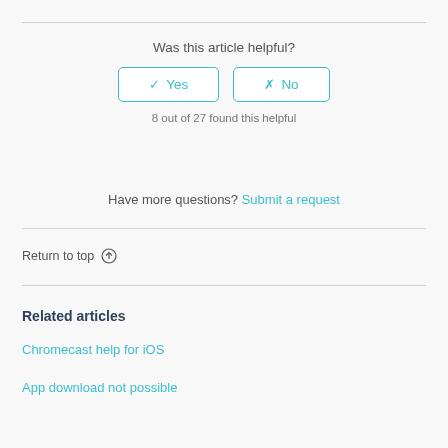Was this article helpful?
✓ Yes | ✗ No
8 out of 27 found this helpful
Have more questions? Submit a request
Return to top ↑
Related articles
Chromecast help for iOS
App download not possible